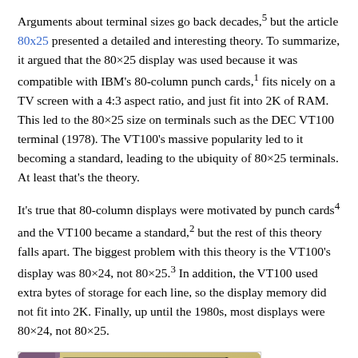Arguments about terminal sizes go back decades,⁵ but the article 80x25 presented a detailed and interesting theory. To summarize, it argued that the 80×25 display was used because it was compatible with IBM's 80-column punch cards,¹ fits nicely on a TV screen with a 4:3 aspect ratio, and just fit into 2K of RAM. This led to the 80×25 size on terminals such as the DEC VT100 terminal (1978). The VT100's massive popularity led to it becoming a standard, leading to the ubiquity of 80×25 terminals. At least that's the theory.
It's true that 80-column displays were motivated by punch cards⁴ and the VT100 became a standard,² but the rest of this theory falls apart. The biggest problem with this theory is the VT100's display was 80×24, not 80×25.³ In addition, the VT100 used extra bytes of storage for each line, so the display memory did not fit into 2K. Finally, up until the 1980s, most displays were 80×24, not 80×25.
[Figure (photo): Photograph of a DEC VT100 terminal, showing a beige/gold-colored terminal with a dark screen and purple/mauve side panel.]